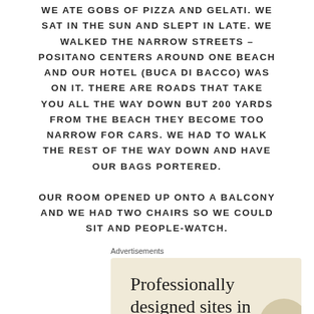WE ATE GOBS OF PIZZA AND GELATI. WE SAT IN THE SUN AND SLEPT IN LATE. WE WALKED THE NARROW STREETS – POSITANO CENTERS AROUND ONE BEACH AND OUR HOTEL (BUCA DI BACCO) WAS ON IT. THERE ARE ROADS THAT TAKE YOU ALL THE WAY DOWN BUT 200 YARDS FROM THE BEACH THEY BECOME TOO NARROW FOR CARS. WE HAD TO WALK THE REST OF THE WAY DOWN AND HAVE OUR BAGS PORTERED.
OUR ROOM OPENED UP ONTO A BALCONY AND WE HAD TWO CHAIRS SO WE COULD SIT AND PEOPLE-WATCH.
Advertisements
[Figure (other): Advertisement banner with beige/cream background showing text 'Professionally designed sites in less than a week' in serif font with a decorative circle element.]